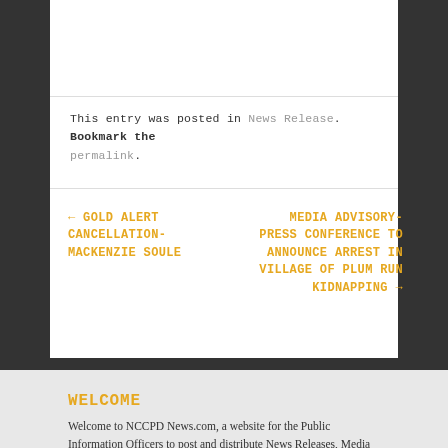This entry was posted in News Release. Bookmark the permalink.
← GOLD ALERT CANCELLATION- MACKENZIE SOULE
MEDIA ADVISORY- PRESS CONFERENCE TO ANNOUNCE ARREST IN VILLAGE OF PLUM RUN KIDNAPPING →
WELCOME
Welcome to NCCPD News.com, a website for the Public Information Officers to post and distribute News Releases, Media Events and public interest...